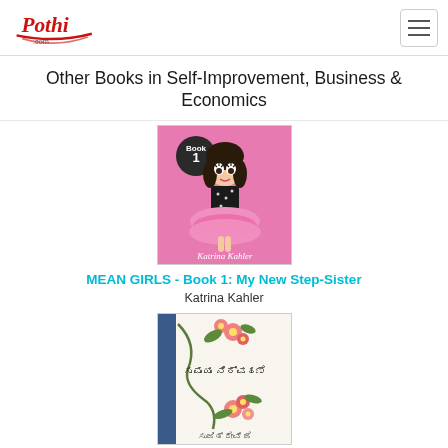Pothi.com
Other Books in Self-Improvement, Business & Economics
[Figure (illustration): Book cover for 'MEAN GIRLS - Book 1: My New Step-Sister' by Katrina Kahler. Pink background with animated girl in black dress and tutu skirt, 'Book 1' badge.]
MEAN GIRLS - Book 1: My New Step-Sister
Katrina Kahler
[Figure (illustration): Book cover with floral design, vines with pink flowers, Kannada text reading 'ಸಮಯ ನಿರ್ವಹಣೆ' and author name in Kannada script at bottom.]